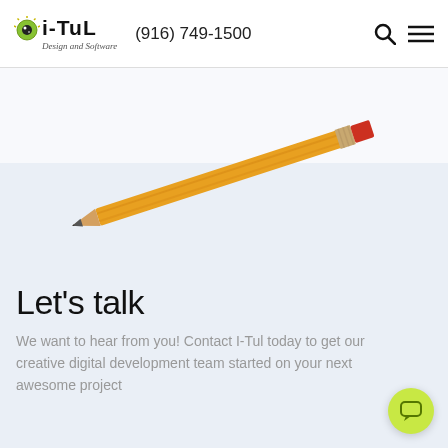i-Tul Design and Software | (916) 749-1500
[Figure (photo): A yellow pencil with red eraser tip, lying diagonally across a light blue-gray background, pointing from lower-left to upper-right.]
Let's talk
We want to hear from you! Contact I-Tul today to get our creative digital development team started on your next awesome project